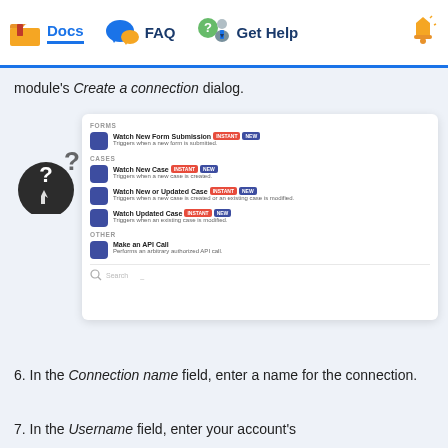Docs  FAQ  Get Help
module's Create a connection dialog.
[Figure (screenshot): Screenshot of a module panel showing trigger options: Watch New Form Submission (INSTANT, NEW), Watch New Case (INSTANT, NEW), Watch New or Updated Case (INSTANT, NEW), Watch Updated Case (INSTANT, NEW), Make an API Call, and a Search bar at the bottom. A question mark icon appears to the left.]
6. In the Connection name field, enter a name for the connection.
7. In the Username field, enter your account's